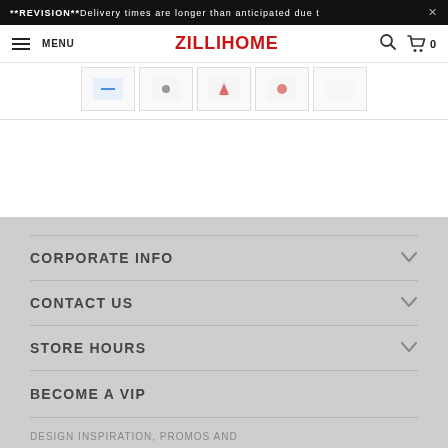**REVISION**Delivery times are longer than anticipated due t
[Figure (screenshot): ZilliHome website navigation bar with hamburger menu, MENU text, ZILLIHOME logo in red, search icon, and cart icon with 0 count]
[Figure (screenshot): Row of 5 product thumbnail image boxes]
CORPORATE INFO
CONTACT US
STORE HOURS
BECOME A VIP
DESIGN INSPIRATION, PROMOS AND